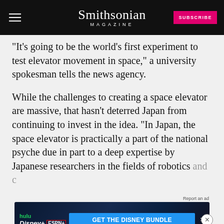Smithsonian MAGAZINE
“It’s going to be the world’s first experiment to test elevator movement in space,” a university spokesman tells the news agency.
While the challenges to creating a space elevator are massive, that hasn’t deterred Japan from continuing to invest in the idea. “In Japan, the space elevator is practically a part of the national psyche due in part to a deep expertise by Japanese researchers in the fields of robotics and c[onstruction]... with the 1[...] Japanese researcher Sumio Iima,” as Michelle Z...
[Figure (other): Disney Bundle advertisement banner with Hulu, Disney+, ESPN+ logos and GET THE DISNEY BUNDLE call-to-action button]